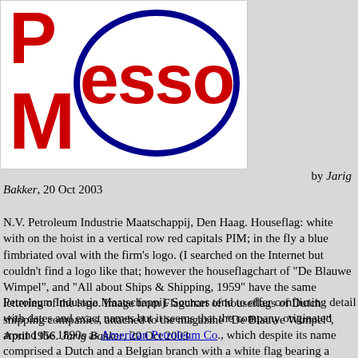[Figure (logo): Partial houseflag image showing red capital letters P and M on white background on the hoist side, and a blue fimbriated oval with the ESSO logo in red lettering on the fly side.]
by Jarig Bakker, 20 Oct 2003
N.V. Petroleum Industrie Maatschappij, Den Haag. Houseflag: white with on the hoist in a vertical row red capitals PIM; in the fly a blue fimbriated oval with the firm's logo. (I searched on the Internet but couldn't find a logo like that; however the houseflagchart of "De Blauwe Wimpel", and "All about Ships & Shipping, 1959" have the same lettering of the logo. Image from Flagchart of houseflags of Dutch shipping companies, attached to the magazine "De Blauwe Wimpel", April 1956. Jarig Bakker, 20 Oct 2003
Petroleum Industrie Maatschappij. Sources tend to offer conflicting detail with dates and exact names but it seems that the company originated around the 1890s as American Petroleum Co., which despite its name comprised a Dutch and a Belgian branch with a white flag bearing a saltire of the respective national colours i.e. a triband of the Dutch from upper hoist to lower fly and one of Belgium from lower hoist to upper fly, this being surmounted by a